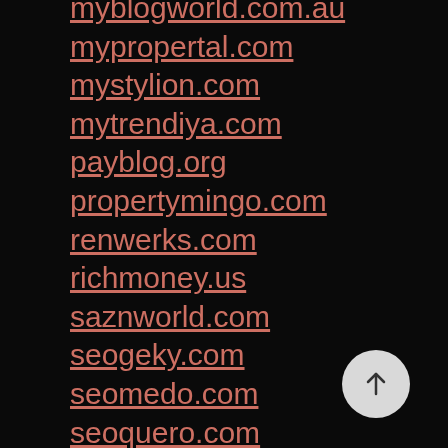myblogworld.com.au
mypropertal.com
mystylion.com
mytrendiya.com
payblog.org
propertymingo.com
renwerks.com
richmoney.us
saznworld.com
seogeky.com
seomedo.com
seoquero.com
seosearch.org
stylepixo.com
stylesaag.com
stylezutra.com